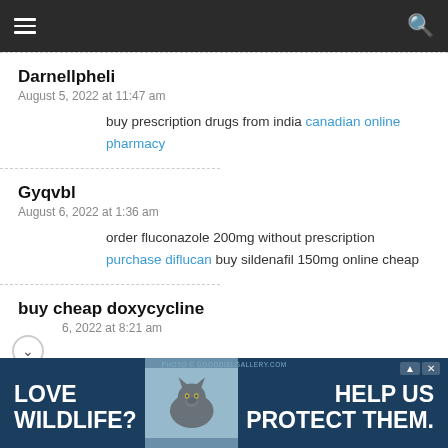Navigation bar with menu and search icons
Darnellpheli
August 5, 2022 at 11:47 am
buy prescription drugs from india canadian online pharmacy
Gyqvbl
August 6, 2022 at 1:36 am
order fluconazole 200mg without prescription purchase diflucan buy sildenafil 150mg online cheap
buy cheap doxycycline
6, 2022 at 8:21 am
[Figure (photo): Advertisement banner: LOVE WILDLIFE? HELP US PROTECT THEM. with a wolf photo in the center.]